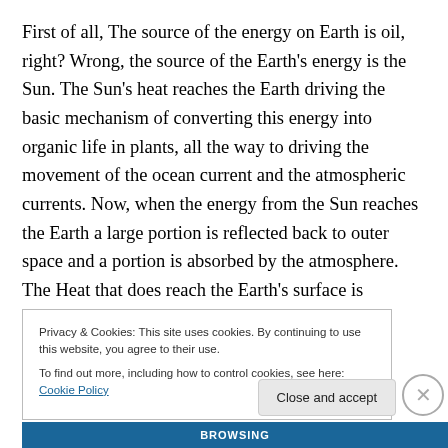First of all, The source of the energy on Earth is oil, right? Wrong, the source of the Earth's energy is the Sun. The Sun's heat reaches the Earth driving the basic mechanism of converting this energy into organic life in plants, all the way to driving the movement of the ocean current and the atmospheric currents. Now, when the energy from the Sun reaches the Earth a large portion is reflected back to outer space and a portion is absorbed by the atmosphere. The Heat that does reach the Earth's surface is absorbed during the day and is re-emitted into the atmosphere over
Privacy & Cookies: This site uses cookies. By continuing to use this website, you agree to their use.
To find out more, including how to control cookies, see here: Cookie Policy